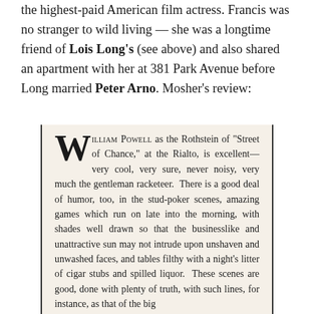the highest-paid American film actress. Francis was no stranger to wild living — she was a longtime friend of Lois Long's (see above) and also shared an apartment with her at 381 Park Avenue before Long married Peter Arno. Mosher's review:
William Powell as the Rothstein of "Street of Chance," at the Rialto, is excellent—very cool, very sure, never noisy, very much the gentleman racketeer. There is a good deal of humor, too, in the stud-poker scenes, amazing games which run on late into the morning, with shades well drawn so that the businesslike and unattractive sun may not intrude upon unshaven and unwashed faces, and tables filthy with a night's litter of cigar stubs and spilled liquor. These scenes are good, done with plenty of truth, with such lines, for instance, as that of the big